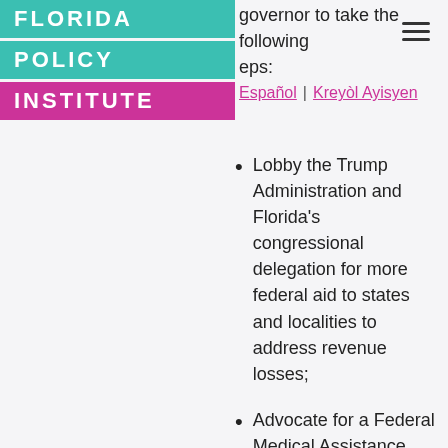[Figure (logo): Florida Policy Institute logo with teal and magenta blocks]
governor to take the following steps:
Español | Kreyòl Ayisyen
Lobby the Trump Administration and Florida's congressional delegation for more federal aid to states and localities to address revenue losses;
Advocate for a Federal Medical Assistance Percentage (FMAP) increase and extension;
Advocate for retroactive flexibility in federal CARES Act aid, which the U.S. Treasury has stipulated cannot be used to mitigate state budget shortfall; and